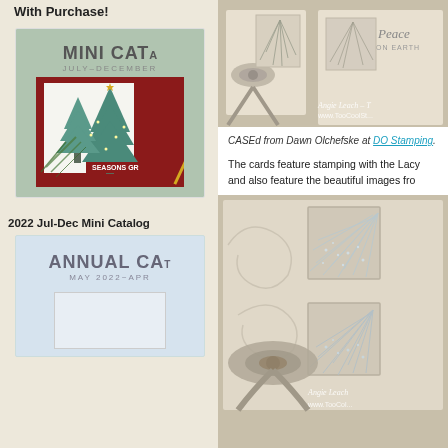With Purchase!
[Figure (photo): 2022 Jul-Dec Mini Catalog cover showing Christmas trees on red background with pine branches and gold ribbon]
2022 Jul-Dec Mini Catalog
[Figure (photo): Annual Catalog cover, light blue background]
[Figure (photo): Stamped cards with pine/lacey branch images in neutral tones with ribbon bows, Peace on Earth text, by Angie Leach at www.TooColSt...]
CASEd from Dawn Olchefske at DO Stamping.
The cards feature stamping with the Lacy and also feature the beautiful images fro
[Figure (photo): Close-up of stamped cards with lacey branch/pine images and glitter, beige tones, ribbon bow, by Angie Leach at www.TooCol...]